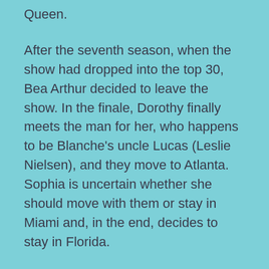Queen.
After the seventh season, when the show had dropped into the top 30, Bea Arthur decided to leave the show. In the finale, Dorothy finally meets the man for her, who happens to be Blanche’s uncle Lucas (Leslie Nielsen), and they move to Atlanta. Sophia is uncertain whether she should move with them or stay in Miami and, in the end, decides to stay in Florida.
When the series ended, White, McClanahan, and Getty reprised their Golden Girls roles and starred in The Golden Palace about a hotel. The series ended after the first year and never enjoyed the rankings of the original, coming in 57th for the year.
Harris developed two spinoffs from the original series.